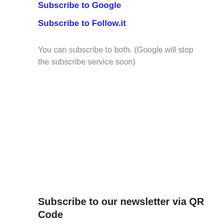Subscribe to Google
Subscribe to Follow.it
You can subscribe to both. (Google will stop the subscribe service soon)
Subscribe to our newsletter via QR Code